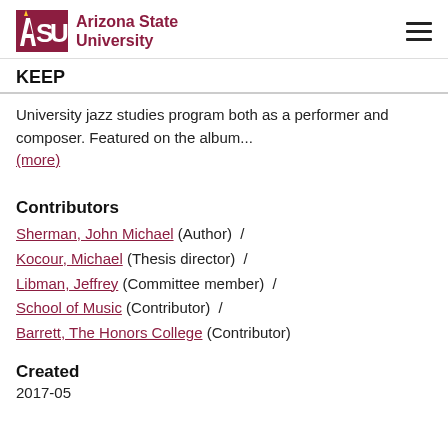ASU Arizona State University | KEEP
University jazz studies program both as a performer and composer. Featured on the album...
(more)
Contributors
Sherman, John Michael (Author)  /
Kocour, Michael (Thesis director)  /
Libman, Jeffrey (Committee member)  /
School of Music (Contributor)  /
Barrett, The Honors College (Contributor)
Created
2017-05